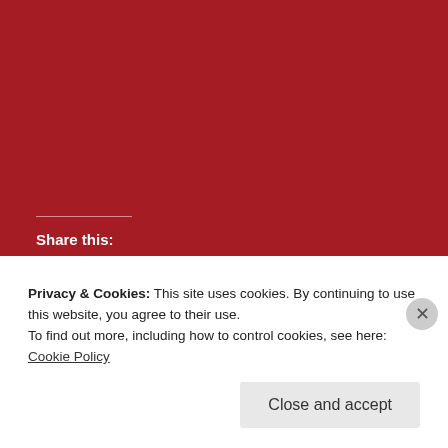[Figure (other): Dark red background covering the upper portion of the page]
Share this:
Twitter
Facebook
Privacy & Cookies: This site uses cookies. By continuing to use this website, you agree to their use. To find out more, including how to control cookies, see here: Cookie Policy
Close and accept